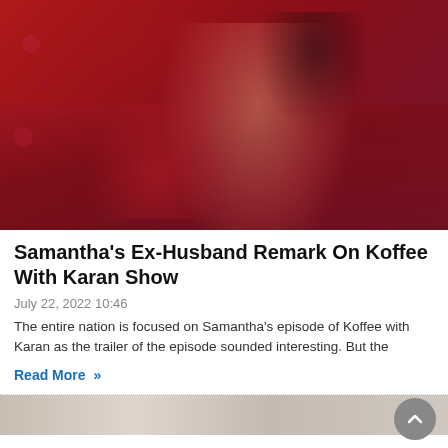[Figure (photo): Woman in red off-shoulder top with long wavy dark hair, seated against a red/purple background with decorative elements, appears to be on a TV show set]
Samantha's Ex-Husband Remark On Koffee With Karan Show
July 22, 2022 10:46
The entire nation is focused on Samantha's episode of Koffee with Karan as the trailer of the episode sounded interesting. But the
Read More »